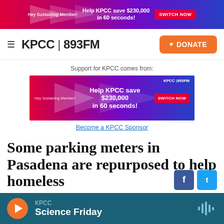[Figure (screenshot): KPCC top banner ad: Help KPCC save $230,000 in 60 seconds! with SWITCH NOW button on gradient red-purple-blue background]
KPCC 893FM | DONATE
Support for KPCC comes from:
[Figure (screenshot): KPCC sponsor ad banner: Help KPCC save $230,000 in 60 seconds! Hey Sustaining Member! SWITCH NOW button. KPCC 893FM logo. Gradient red to blue background.]
Become a KPCC Sponsor
Some parking meters in Pasadena are repurposed to help homeless
By Shirley Jahad
Published August 13, 2014 04:28 PM
[Figure (screenshot): Audio player bar: KPCC Science Friday with orange play button and waveform icon on dark teal background]